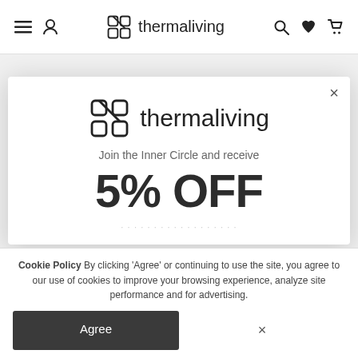thermaliving — navigation bar with menu, user, search, wishlist, cart icons
REACH OUT
We're available 24/7. Reach out to us at anytime, for any of your
[Figure (screenshot): Thermaliving popup modal — logo with icon, text 'Join the Inner Circle and receive', large '5% OFF' discount offer]
Cookie Policy By clicking 'Agree' or continuing to use the site, you agree to our use of cookies to improve your browsing experience, analyze site performance and for advertising.
Agree | ×